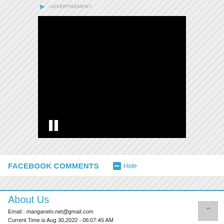[Figure (screenshot): Video player with black screen, advertisement label and play icon at top, pause button at bottom left. Hatched gray background around the player.]
FACEBOOK COMMENTS
Hide
About Us
Email : manganelo.net@gmail.com
Current Time is Aug 30,2022 - 06:07:45 AM